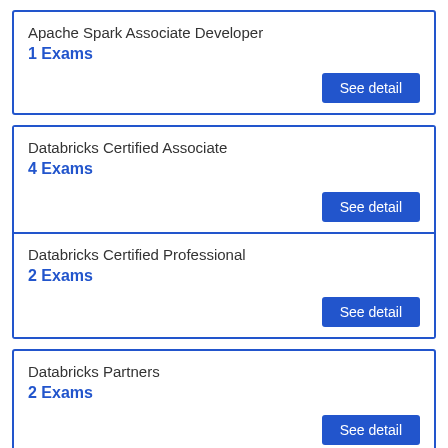Apache Spark Associate Developer
1 Exams
See detail
Databricks Certified Associate
4 Exams
See detail
Databricks Certified Professional
2 Exams
See detail
Databricks Partners
2 Exams
See detail